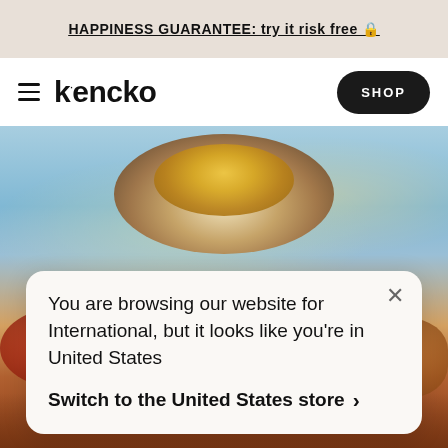HAPPINESS GUARANTEE: try it risk free 🔒
kencko
SHOP
[Figure (photo): Hero background image showing a colorful food spread with a bowl of golden fruits/food on a blue patterned surface, with red and brown food items visible at the bottom]
You are browsing our website for International, but it looks like you're in United States
Switch to the United States store >